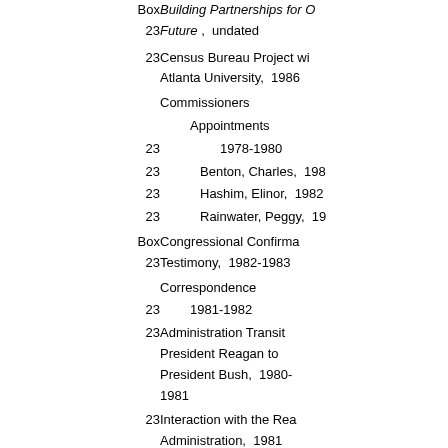Box 23 | Building Partnerships for Our Future, undated
23 | Census Bureau Project with Atlanta University, 1986
Commissioners
Appointments
23 | 1978-1980
23 | Benton, Charles, 198[x]
23 | Hashim, Elinor, 1982
23 | Rainwater, Peggy, 19[xx]
Box 23 | Congressional Confirmation Testimony, 1982-1983
Correspondence
23 | 1981-1982
23 | Administration Transition President Reagan to President Bush, 1980-1981
23 | Interaction with the Reagan Administration, 1981